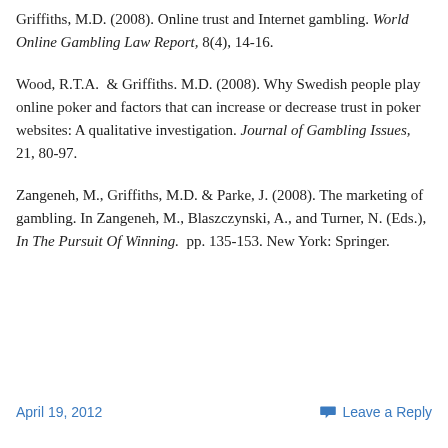Griffiths, M.D. (2008). Online trust and Internet gambling. World Online Gambling Law Report, 8(4), 14-16.
Wood, R.T.A.  & Griffiths. M.D. (2008). Why Swedish people play online poker and factors that can increase or decrease trust in poker websites: A qualitative investigation. Journal of Gambling Issues, 21, 80-97.
Zangeneh, M., Griffiths, M.D. & Parke, J. (2008). The marketing of gambling. In Zangeneh, M., Blaszczynski, A., and Turner, N. (Eds.), In The Pursuit Of Winning.  pp. 135-153. New York: Springer.
April 19, 2012    Leave a Reply